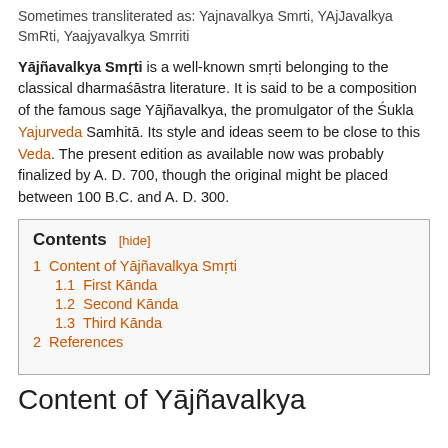Sometimes transliterated as: Yajnavalkya Smrti, YAjJavalkya SmRti, Yaajyavalkya Smrriti
Yājñavalkya Smṛti is a well-known smṛti belonging to the classical dharmaśāstra literature. It is said to be a composition of the famous sage Yājñavalkya, the promulgator of the Śukla Yajurveda Samhitā. Its style and ideas seem to be close to this Veda. The present edition as available now was probably finalized by A. D. 700, though the original might be placed between 100 B.C. and A. D. 300.
| Contents [hide] |
| 1  Content of Yājñavalkya Smṛti |
| 1.1  First Kānda |
| 1.2  Second Kānda |
| 1.3  Third Kānda |
| 2  References |
Content of Yājñavalkya